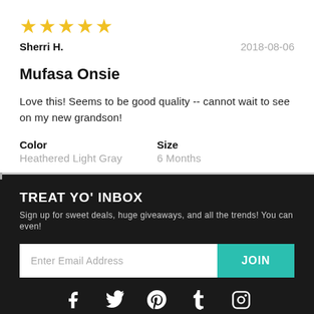[Figure (other): Five gold star rating icons]
Sherri H.                                    2018-08-06
Mufasa Onsie
Love this! Seems to be good quality -- cannot wait to see on my new grandson!
Color
Heathered Light Gray

Size
6 Months
TREAT YO' INBOX
Sign up for sweet deals, huge giveaways, and all the trends! You can even!
Enter Email Address   JOIN
[Figure (other): Social media icons: Facebook, Twitter, Pinterest, Tumblr, Instagram]